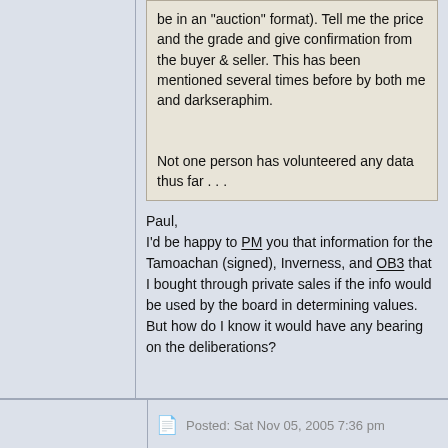be in an "auction" format). Tell me the price and the grade and give confirmation from the buyer & seller. This has been mentioned several times before by both me and darkseraphim.

Not one person has volunteered any data thus far . . .
Paul,
I'd be happy to PM you that information for the Tamoachan (signed), Inverness, and OB3 that I bought through private sales if the info would be used by the board in determining values.  But how do I know it would have any bearing on the deliberations?
Posted: Sat Nov 05, 2005 7:36 pm